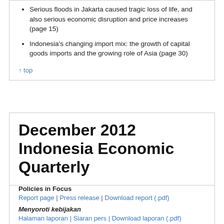Serious floods in Jakarta caused tragic loss of life, and also serious economic disruption and price increases (page 15)
Indonesia's changing import mix: the growth of capital goods imports and the growing role of Asia (page 30)
↑ top
December 2012 Indonesia Economic Quarterly
Policies in Focus
Report page | Press release | Download report (.pdf)
Menyoroti kebijakan
Halaman laporan | Siaran pers | Download laporan (.pdf)